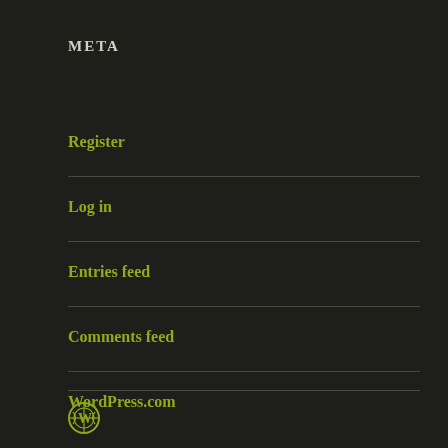META
Register
Log in
Entries feed
Comments feed
WordPress.com
[Figure (logo): WordPress circular logo in yellow-green color]